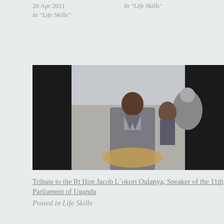26 Apr 2021
In "Life Skills"
In "Life Skills"
[Figure (photo): A man in a grey suit speaking or standing at an outdoor event, with other people visible in the background.]
Tribute to the Rt Hon Jacob L`okori Oulanya, Speaker of the 11th Parliament of Uganda
5 Apr 2022
In "Heroes and Heroines"
Posted in Life Skills